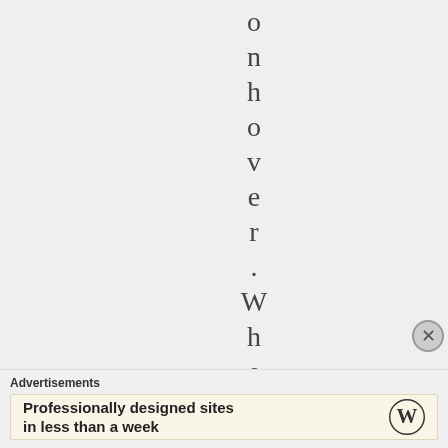o n h o v e r . W h e n l
Advertisements
Professionally designed sites in less than a week